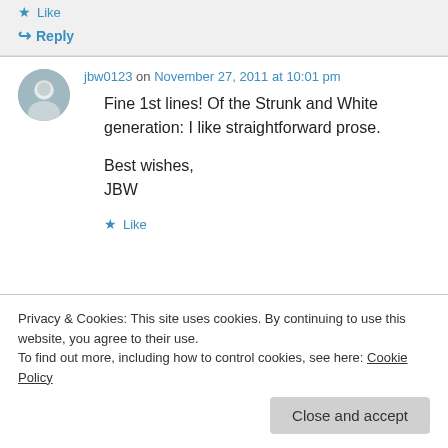Like
↳ Reply
jbw0123 on November 27, 2011 at 10:01 pm
Fine 1st lines! Of the Strunk and White generation: I like straightforward prose.

Best wishes,
JBW
Like
Privacy & Cookies: This site uses cookies. By continuing to use this website, you agree to their use.
To find out more, including how to control cookies, see here: Cookie Policy
Close and accept